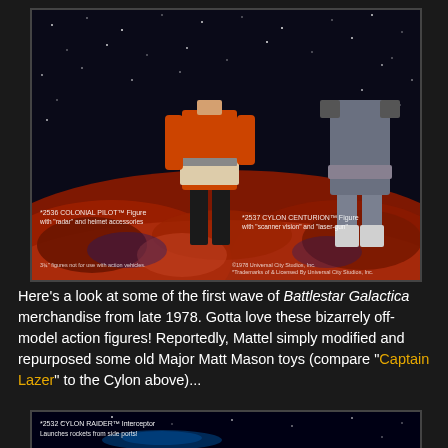[Figure (photo): Battlestar Galactica action figures from 1978 — a Colonial Pilot and Cylon Centurion standing on reddish alien rocky terrain against a starry black background. Text labels on the image identify '#2536 Colonial Pilot Figure with radar and helmet accessories' and '#2537 Cylon Centurion Figure with scanner vision and laser-gun'. Bottom text reads '3¾" figures not for use with action vehicles' and '©1978 Universal City Studios, Inc. *Trademarks of & Licensed By Universal City Studios, Inc.']
Here's a look at some of the first wave of Battlestar Galactica merchandise from late 1978. Gotta love these bizarrely off-model action figures! Reportedly, Mattel simply modified and repurposed some old Major Matt Mason toys (compare "Captain Lazer" to the Cylon above)...
[Figure (photo): Bottom portion of a Battlestar Galactica toy package showing '#2532 CYLON RAIDER Interceptor — Launches rockets from side ports!' with a starfield background.]